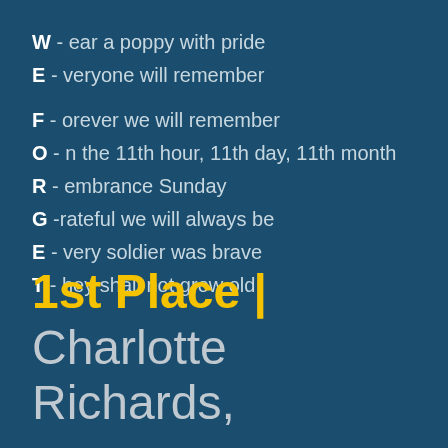W - ear a poppy with pride
E - veryone will remember
F - orever we will remember
O - n the 11th hour, 11th day, 11th month
R - embrance Sunday
G -rateful we will always be
E - very soldier was brave
T - hey shall not grow old
1st Place | Charlotte Richards,